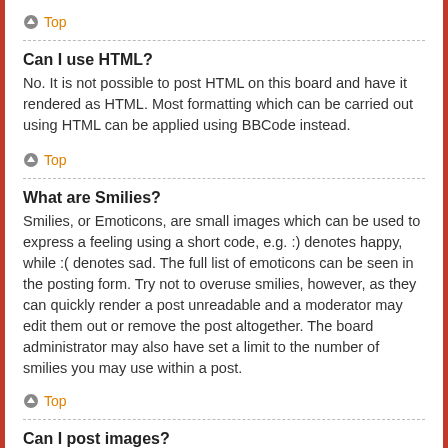Top
Can I use HTML?
No. It is not possible to post HTML on this board and have it rendered as HTML. Most formatting which can be carried out using HTML can be applied using BBCode instead.
Top
What are Smilies?
Smilies, or Emoticons, are small images which can be used to express a feeling using a short code, e.g. :) denotes happy, while :( denotes sad. The full list of emoticons can be seen in the posting form. Try not to overuse smilies, however, as they can quickly render a post unreadable and a moderator may edit them out or remove the post altogether. The board administrator may also have set a limit to the number of smilies you may use within a post.
Top
Can I post images?